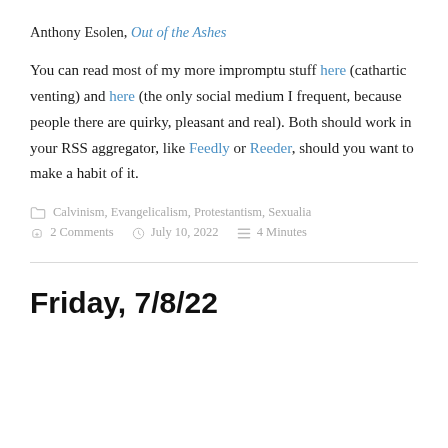Anthony Esolen, Out of the Ashes
You can read most of my more impromptu stuff here (cathartic venting) and here (the only social medium I frequent, because people there are quirky, pleasant and real). Both should work in your RSS aggregator, like Feedly or Reeder, should you want to make a habit of it.
Calvinism, Evangelicalism, Protestantism, Sexualia
2 Comments   July 10, 2022   4 Minutes
Friday, 7/8/22